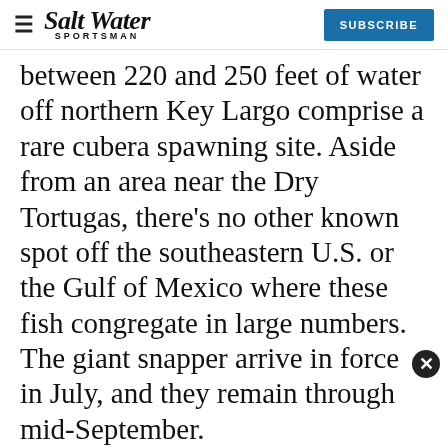Salt Water Sportsman — SUBSCRIBE
between 220 and 250 feet of water off northern Key Largo comprise a rare cubera spawning site. Aside from an area near the Dry Tortugas, there's no other known spot off the southeastern U.S. or the Gulf of Mexico where these fish congregate in large numbers. The giant snapper arrive in force in July, and they remain through mid-September.
Night Moves
Aggressive feeding occurs primarily at